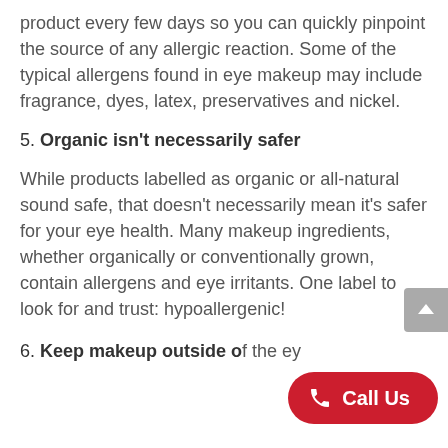product every few days so you can quickly pinpoint the source of any allergic reaction. Some of the typical allergens found in eye makeup may include fragrance, dyes, latex, preservatives and nickel.
5. Organic isn't necessarily safer
While products labelled as organic or all-natural sound safe, that doesn't necessarily mean it's safer for your eye health. Many makeup ingredients, whether organically or conventionally grown, contain allergens and eye irritants. One label to look for and trust: hypoallergenic!
6. Keep makeup outside of the eye